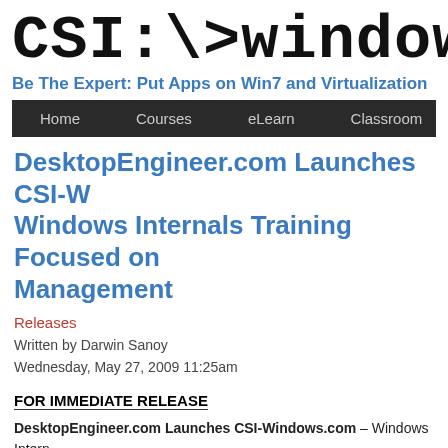CSI:->windows | Be The Expert: Put Apps on Win7 and Virtualization
DesktopEngineer.com Launches CSI-Windows Windows Internals Training Focused on Management
Releases
Written by Darwin Sanoy
Wednesday, May 27, 2009 11:25am
FOR IMMEDIATE RELEASE
DesktopEngineer.com Launches CSI-Windows.com – Windows Internals Training Focused on Management